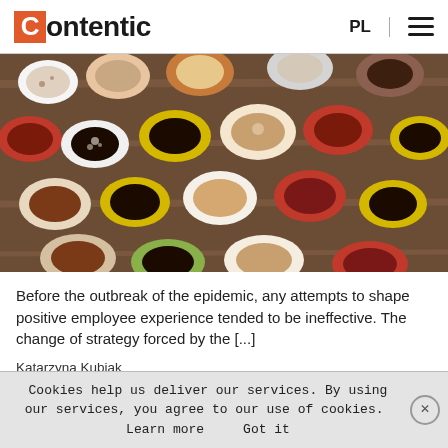Contentic | PL
[Figure (photo): Overhead view of many colorful coffee mugs and cups filled with various coffees and teas arranged on a wooden table surface.]
Before the outbreak of the epidemic, any attempts to shape positive employee experience tended to be ineffective. The change of strategy forced by the [...]
Katarzyna Kubiak
Cookies help us deliver our services. By using our services, you agree to our use of cookies.  Learn more    Got it